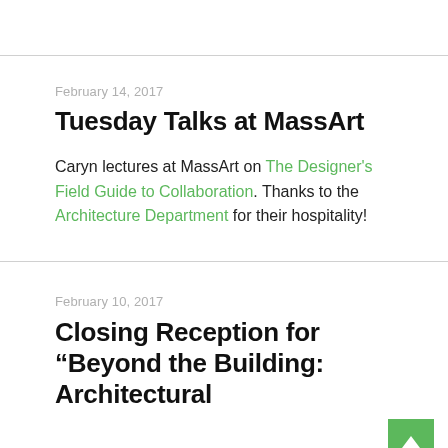February 14, 2017
Tuesday Talks at MassArt
Caryn lectures at MassArt on The Designer's Field Guide to Collaboration. Thanks to the Architecture Department for their hospitality!
February 10, 2017
Closing Reception for “Beyond the Building: Architectural